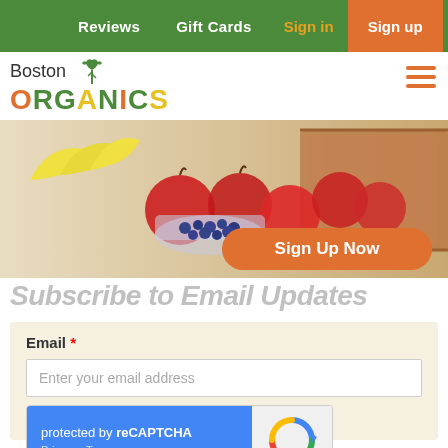Reviews  Gift Cards  Sign in  Sign up
[Figure (logo): Boston Organics logo with colorful lettering and leaf icon]
[Figure (photo): Hero image showing organic fruits including bananas, apples, and blueberries in a wooden crate with a Sign Up Now button]
Subscribe to Email Updates
Email *
Enter your email address
[Figure (other): reCAPTCHA widget: protected by reCAPTCHA, Privacy - Terms, with reCAPTCHA spinner icon]
Subscribe